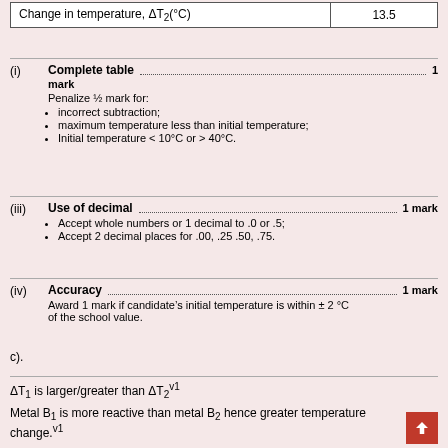| Change in temperature, ΔT₂(°C) | 13.5 |
| --- | --- |
(i) Complete table — 1 mark
Penalize ½ mark for: incorrect subtraction; maximum temperature less than initial temperature; Initial temperature < 10°C or > 40°C.
(iii) Use of decimal — 1 mark
Accept whole numbers or 1 decimal to .0 or .5; Accept 2 decimal places for .00, .25 .50, .75.
(iv) Accuracy — 1 mark
Award 1 mark if candidate's initial temperature is within ± 2 °C of the school value.
c).
ΔT₁ is larger/greater than ΔT₂^v1
Metal B₁ is more reactive than metal B₂ hence greater temperature change. v1